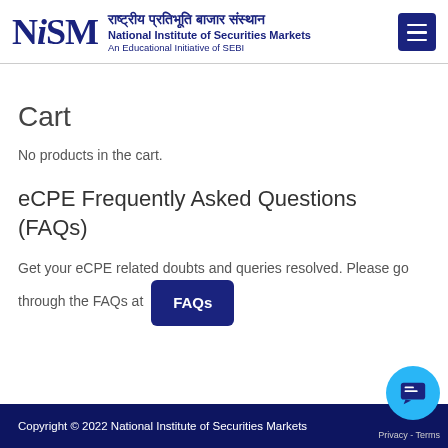[Figure (logo): NiSM logo with Hindi and English text: राष्ट्रीय प्रतिभूति बाजार संस्थान / National Institute of Securities Markets / An Educational Initiative of SEBI]
Cart
No products in the cart.
eCPE Frequently Asked Questions (FAQs)
Get your eCPE related doubts and queries resolved. Please go through the FAQs at FAQs
Copyright © 2022 National Institute of Securities Markets